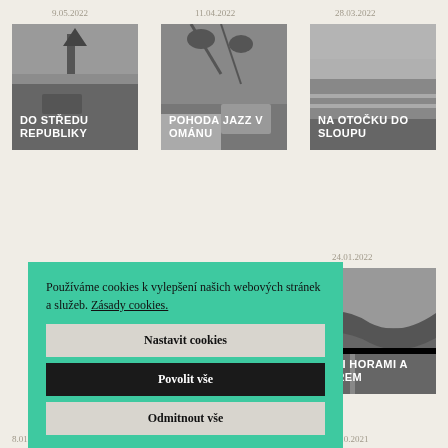9.05.2022
11.04.2022
28.03.2022
[Figure (photo): Black and white photo of a church spire and countryside with text overlay 'DO STŘEDU REPUBLIKY']
[Figure (photo): Black and white photo of plant branches with a cyclist in background with text overlay 'POHODA JAZZ V OMÁNU']
[Figure (photo): Black and white photo of a road and open landscape with text overlay 'NA OTOČKU DO SLOUPU']
24.01.2022
[Figure (photo): Black and white aerial photo of mountains and river with text overlay 'MEZI HORAMI A MOŘEM']
Používáme cookies k vylepšení našich webových stránek a služeb. Zásady cookies.
Nastavit cookies
Povolit vše
Odmitnout vše
8.01.2022
1.11.2021
18.10.2021